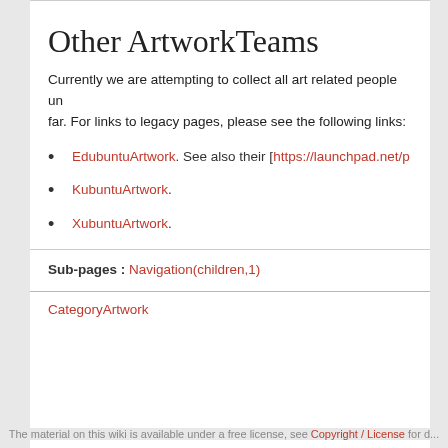Other ArtworkTeams
Currently we are attempting to collect all art related people un... far. For links to legacy pages, please see the following links:
EdubuntuArtwork. See also their [https://launchpad.net/p...
KubuntuArtwork.
XubuntuArtwork.
Sub-pages : Navigation(children,1)
CategoryArtwork
The material on this wiki is available under a free license, see Copyright / License for d...